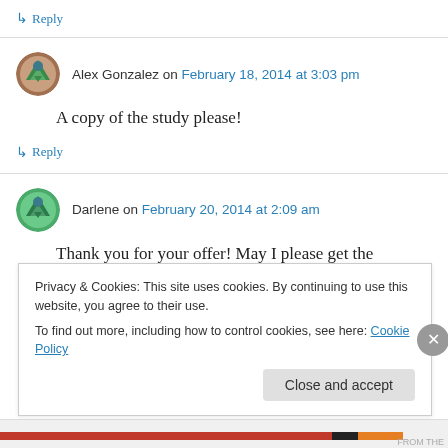↳ Reply
Alex Gonzalez on February 18, 2014 at 3:03 pm
A copy of the study please!
↳ Reply
Darlene on February 20, 2014 at 2:09 am
Thank you for your offer! May I please get the
Privacy & Cookies: This site uses cookies. By continuing to use this website, you agree to their use. To find out more, including how to control cookies, see here: Cookie Policy
Close and accept